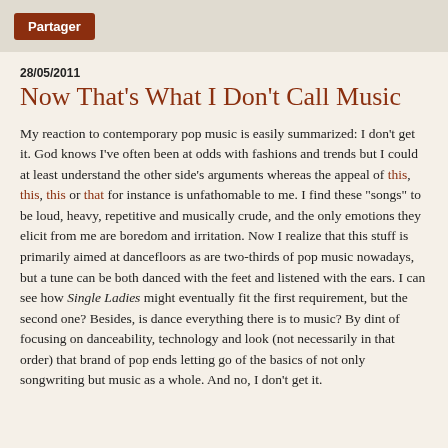Partager
28/05/2011
Now That's What I Don't Call Music
My reaction to contemporary pop music is easily summarized: I don't get it. God knows I've often been at odds with fashions and trends but I could at least understand the other side's arguments whereas the appeal of this, this, this or that for instance is unfathomable to me. I find these "songs" to be loud, heavy, repetitive and musically crude, and the only emotions they elicit from me are boredom and irritation. Now I realize that this stuff is primarily aimed at dancefloors as are two-thirds of pop music nowadays, but a tune can be both danced with the feet and listened with the ears. I can see how Single Ladies might eventually fit the first requirement, but the second one? Besides, is dance everything there is to music? By dint of focusing on danceability, technology and look (not necessarily in that order) that brand of pop ends letting go of the basics of not only songwriting but music as a whole. And no, I don't get it.